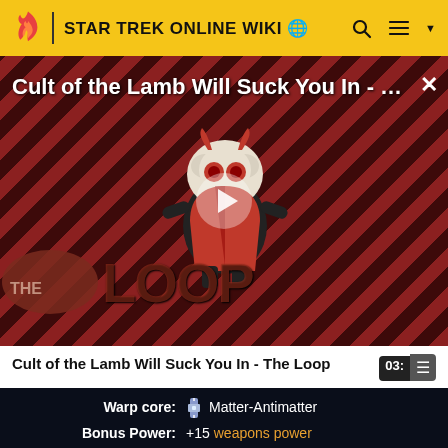STAR TREK ONLINE WIKI
[Figure (screenshot): Video thumbnail for 'Cult of the Lamb Will Suck You In - The Loop' showing animated lamb character on striped red background with play button overlay and 'THE LOOP' text]
Cult of the Lamb Will Suck You In - The Loop  03:
| Field | Value |
| --- | --- |
| Warp core: | Matter-Antimatter |
| Bonus Power: | +15 weapons power |
| Bridge Officers: | (5 officer icons) |
| Weapons: | (icons) 4 (icon) 3 |